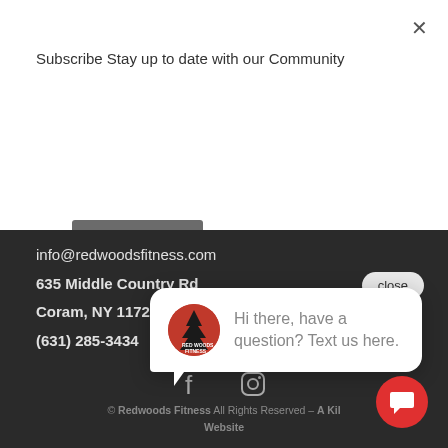Subscribe Stay up to date with our Community
Subscribe
info@redwoodsfitness.com
635 Middle Country Rd
Coram, NY 11727
(631) 285-3434
[Figure (screenshot): Chat popup with Red Woods Fitness logo and message 'Hi there, have a question? Text us here.']
© Redwoods Fitness All Rights Reserved – A Kil... Website